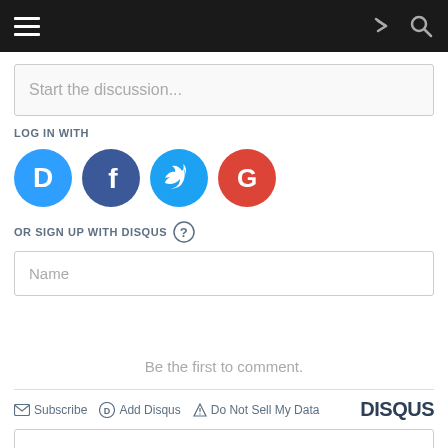Navigation bar with hamburger menu, share icon, and search icon
Start the discussion...
LOG IN WITH
[Figure (infographic): Four social login buttons: Disqus (blue circle with D), Facebook (dark blue circle with f), Twitter (cyan circle with bird), Google (red circle with G)]
OR SIGN UP WITH DISQUS (?)
Name
Be the first to comment.
Subscribe  Add Disqus  Do Not Sell My Data  DISQUS